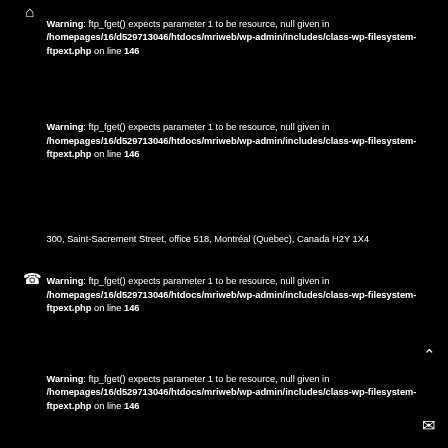[Figure (illustration): Home icon (house symbol) top left]
Warning: ftp_fget() expects parameter 1 to be resource, null given in /homepages/16/d529713046/htdocs/mriweb/wp-admin/includes/class-wp-filesystem-ftpext.php on line 146
Warning: ftp_fget() expects parameter 1 to be resource, null given in /homepages/16/d529713046/htdocs/mriweb/wp-admin/includes/class-wp-filesystem-ftpext.php on line 146
300, Saint-Sacrement Street, office 518, Montréal (Quebec), Canada H2Y 1X4
[Figure (illustration): Phone icon on left side]
Warning: ftp_fget() expects parameter 1 to be resource, null given in /homepages/16/d529713046/htdocs/mriweb/wp-admin/includes/class-wp-filesystem-ftpext.php on line 146
[Figure (illustration): Chevron/caret up icon on right side]
Warning: ftp_fget() expects parameter 1 to be resource, null given in /homepages/16/d529713046/htdocs/mriweb/wp-admin/includes/class-wp-filesystem-ftpext.php on line 146
[Figure (illustration): Envelope/mail icon bottom right]